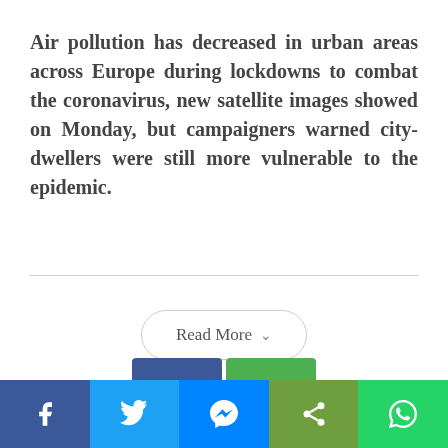Air pollution has decreased in urban areas across Europe during lockdowns to combat the coronavirus, new satellite images showed on Monday, but campaigners warned city-dwellers were still more vulnerable to the epidemic.
[Figure (other): Read More button with chevron icon]
[Figure (other): Social media share bar with Facebook, Twitter, Messenger, Share, and WhatsApp icons]